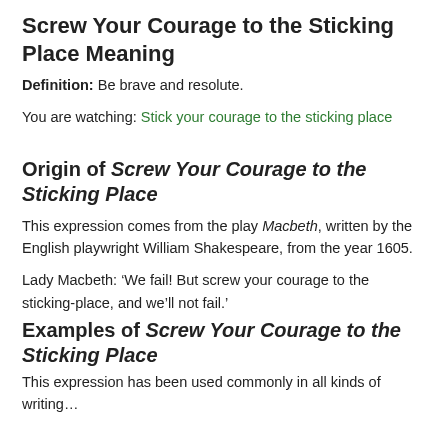Screw Your Courage to the Sticking Place Meaning
Definition: Be brave and resolute.
You are watching: Stick your courage to the sticking place
Origin of Screw Your Courage to the Sticking Place
This expression comes from the play Macbeth, written by the English playwright William Shakespeare, from the year 1605.
Lady Macbeth: ‘We fail! But screw your courage to the sticking-place, and we’ll not fail.’
Examples of Screw Your Courage to the Sticking Place
This expression has been used commonly in all kinds of writing…